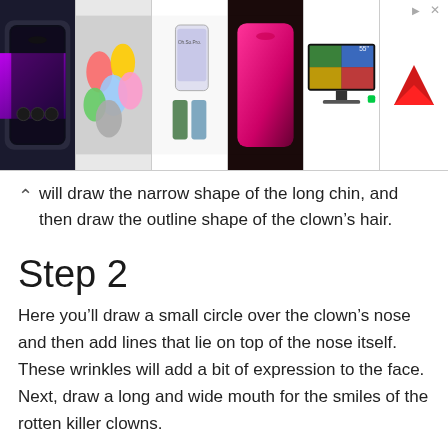[Figure (screenshot): Advertisement banner showing product images: iPhone 13 Pro, colorful flip flops, Oh.So.Pro phone, iPhone 13 in pink/green, 55-inch TV, and a red brand logo on white background]
you will draw the narrow shape of the long chin, and then draw the outline shape of the clown's hair.
Step 2
Here you'll draw a small circle over the clown's nose and then add lines that lie on top of the nose itself. These wrinkles will add a bit of expression to the face. Next, draw a long and wide mouth for the smiles of the rotten killer clowns.
Step 3
I purposely drew two different looking eyes to add scar or